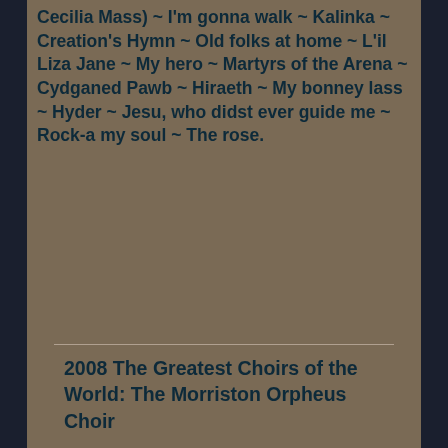Cecilia Mass) ~ I'm gonna walk ~ Kalinka ~ Creation's Hymn ~ Old folks at home ~ L'il Liza Jane ~ My hero ~ Martyrs of the Arena ~ Cydganed Pawb ~ Hiraeth ~ My bonney lass ~ Hyder ~ Jesu, who didst ever guide me ~ Rock-a my soul ~ The rose.
2008 The Greatest Choirs of the World: The Morriston Orpheus Choir